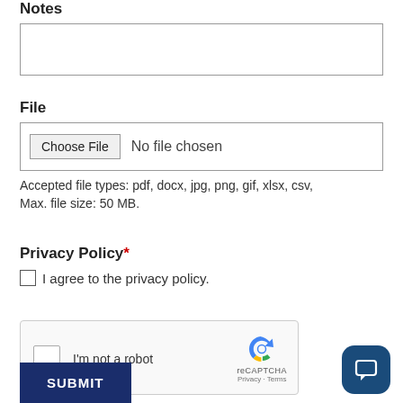Notes
File
Choose File  No file chosen
Accepted file types: pdf, docx, jpg, png, gif, xlsx, csv, Max. file size: 50 MB.
Privacy Policy*
I agree to the privacy policy.
[Figure (other): reCAPTCHA widget with checkbox labeled I'm not a robot and reCAPTCHA logo with Privacy and Terms links]
SUBMIT